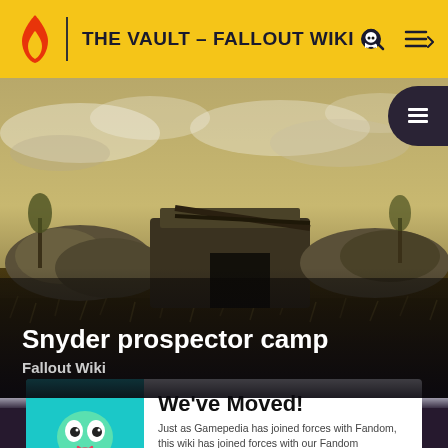THE VAULT - FALLOUT WIKI
[Figure (screenshot): Game screenshot of Snyder prospector camp from Fallout, showing a ruined shelter with rocks and dry grass under a cloudy sky]
Snyder prospector camp
Fallout Wiki
We've Moved!
Just as Gamepedia has joined forces with Fandom, this wiki has joined forces with our Fandom equivalent. The wiki has been archived and we ask that readers and editors move to the new combined wiki on Fandom.
GO TO NEW WIKI →